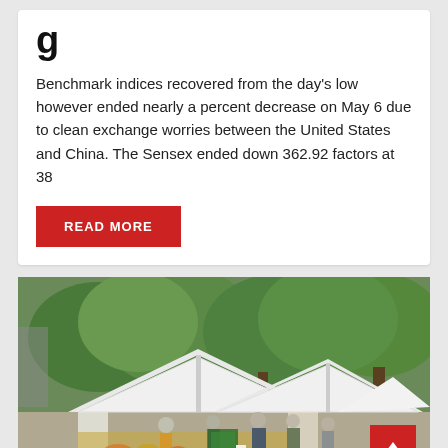g
Benchmark indices recovered from the day's low however ended nearly a percent decrease on May 6 due to clean exchange worries between the United States and China. The Sensex ended down 362.92 factors at 38
READ MORE
[Figure (photo): Outdoor farmers market with white tent canopies, people shopping among stalls, green trees in background]